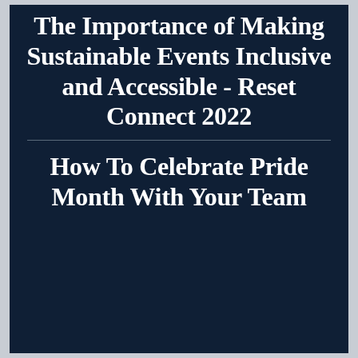The Importance of Making Sustainable Events Inclusive and Accessible - Reset Connect 2022
How To Celebrate Pride Month With Your Team